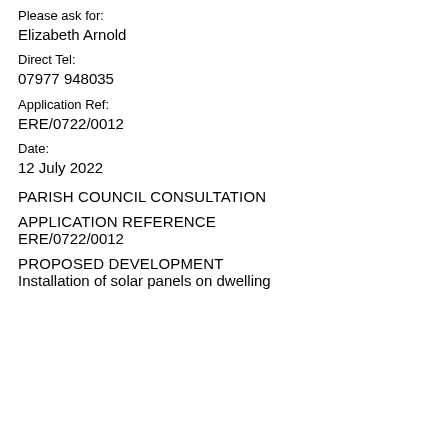Please ask for:
Elizabeth Arnold
Direct Tel:
07977 948035
Application Ref:
ERE/0722/0012
Date:
12 July 2022
PARISH COUNCIL CONSULTATION
APPLICATION REFERENCE
ERE/0722/0012
PROPOSED DEVELOPMENT
Installation of solar panels on dwelling